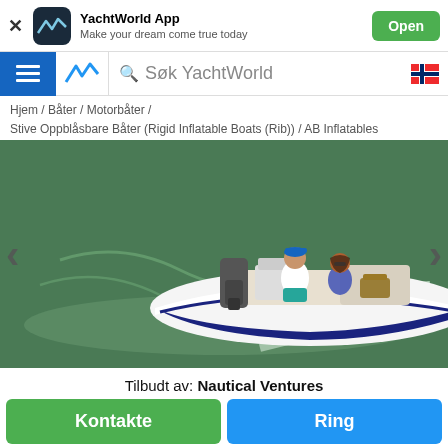YachtWorld App — Make your dream come true today
Søk YachtWorld
Hjem / Båter / Motorbåter / Stive Oppblåsbare Båter (Rigid Inflatable Boats (Rib)) / AB Inflatables
[Figure (photo): A white and navy blue rigid inflatable boat (RIB) speeding across green water, with two people aboard — a man in a white shirt and blue cap at the helm, and a woman in a blue bikini top. The boat has a navy stripe along the hull.]
Tilbudt av: Nautical Ventures
Kontakte
Ring